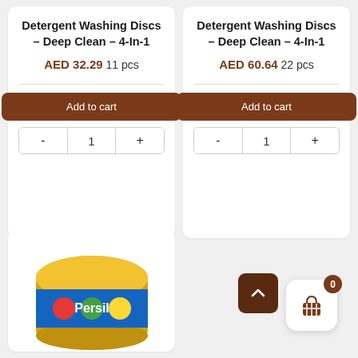Detergent Washing Discs – Deep Clean – 4-In-1
AED 32.29 11 pcs
Add to cart
- 1 +
Detergent Washing Discs – Deep Clean – 4-In-1
AED 60.64 22 pcs
Add to cart
- 1 +
[Figure (photo): Persil product tub with colorful laundry capsules visible]
[Figure (other): Scroll-to-top FAB button (dark brown) and shopping cart FAB (white) with badge showing 0]